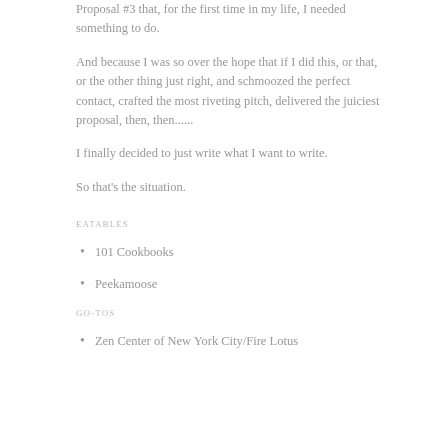Proposal #3 that, for the first time in my life, I needed something to do.
And because I was so over the hope that if I did this, or that, or the other thing just right, and schmoozed the perfect contact, crafted the most riveting pitch, delivered the juiciest proposal, then, then......
I finally decided to just write what I want to write.
So that's the situation.
EATABLES
101 Cookbooks
Peekamoose
GO-TOS
Zen Center of New York City/Fire Lotus